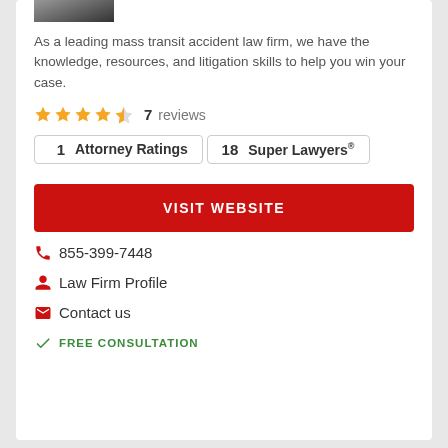[Figure (photo): Partial photo of a person in a suit at top of card]
As a leading mass transit accident law firm, we have the knowledge, resources, and litigation skills to help you win your case.
★★★★½  7  reviews
1  Attorney Ratings
18  Super Lawyers®
VISIT WEBSITE
855-399-7448
Law Firm Profile
Contact us
FREE CONSULTATION